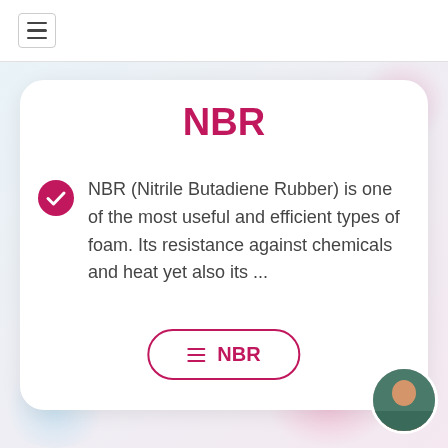≡ (navigation menu)
NBR
NBR (Nitrile Butadiene Rubber) is one of the most useful and efficient types of foam. Its resistance against chemicals and heat yet also its ...
≡ NBR